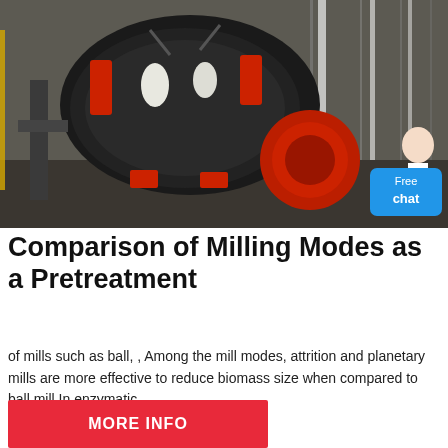[Figure (photo): Industrial milling machine (large black and red mill) inside a warehouse/factory, photographed from above at an angle showing heavy machinery with red accents and mechanical components.]
Comparison of Milling Modes as a Pretreatment
of mills such as ball, , Among the mill modes, attrition and planetary mills are more effective to reduce biomass size when compared to ball mill In enzymatic.
MORE INFO